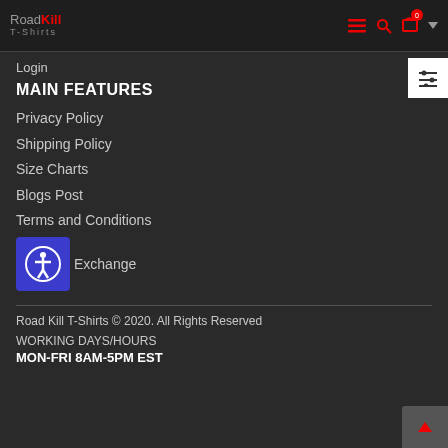RoadKill T-Shirts — navigation header with menu, search, cart icons
Login
MAIN FEATURES
Privacy Policy
Shipping Policy
Size Charts
Blogs Post
Terms and Conditions
Exchange
Road Kill T-Shirts © 2020. All Rights Reserved
WORKING DAYS/HOURS
MON-FRI 8AM-5PM EST